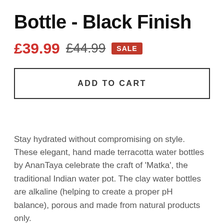Bottle - Black Finish
£39.99  £44.99  SALE
ADD TO CART
Stay hydrated without compromising on style. These elegant, hand made terracotta water bottles by AnanTaya celebrate the craft of 'Matka', the traditional Indian water pot. The clay water bottles are alkaline (helping to create a proper pH balance), porous and made from natural products only.